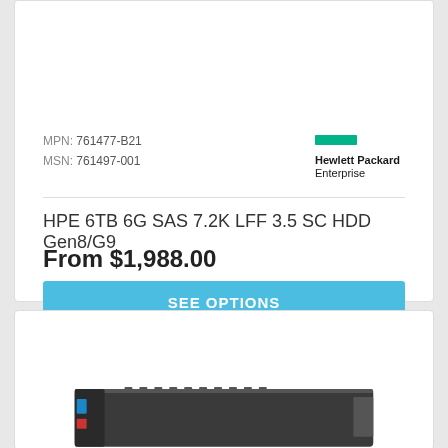MPN: 761477-B21
MSN: 761497-001
[Figure (logo): Hewlett Packard Enterprise logo with green bar icon]
HPE 6TB 6G SAS 7.2K LFF 3.5 SC HDD Gen8/G9
From $1,988.00
SEE OPTIONS
[Figure (photo): HPE hard disk drive (HDD) product photo, dark grey drive with blue and red accents visible at bottom of second card]